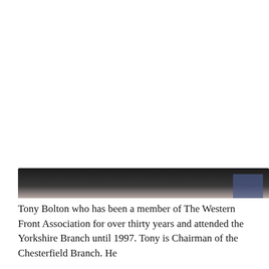[Figure (photo): Partial photograph of a person, showing only the lower portion of a face with a slight smile, against a dark background. The image is cropped at the bottom of the page.]
Tony Bolton who has been a member of The Western Front Association for over thirty years and attended the Yorkshire Branch until 1997. Tony is Chairman of the Chesterfield Branch. He...